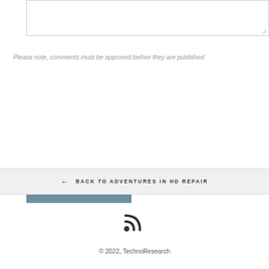[Figure (other): Text area input box with resize handle in bottom-right corner]
Please note, comments must be approved before they are published
POST COMMENT
← BACK TO ADVENTURES IN HD REPAIR
[Figure (other): RSS feed icon]
© 2022, TechnoResearch